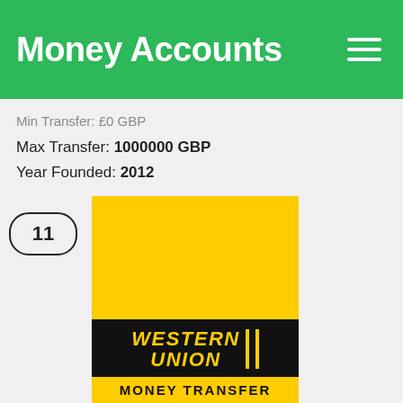Money Accounts
Min Transfer: £0 GBP
Max Transfer: 1000000 GBP
Year Founded: 2012
[Figure (logo): Western Union Money Transfer logo — yellow and black branding with item number badge 11]